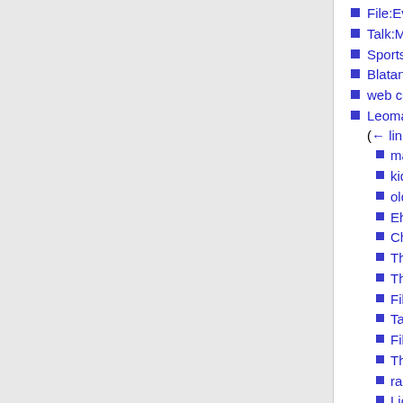File:Everyone.png (← links)
Talk:Marshie's Mother (← links)
Sportsinterviews (redirect page) (← links)
Blatant Lies (← links)
web comics (← links)
Leomard Sportsinterviews (redirect page) (← links)
mascot (← links)
kids' book (← links)
old comics (← links)
Eh! Steve! (← links)
Cheap as Free (← links)
That Time of Year (← links)
Three-to-One Marny (← links)
File:lemcover.jpg (← links)
Talk:japanese cartoon (← links)
File:lemcard.PNG (← links)
The Castlefunnies (← links)
radio (← links)
Lions (← links)
origins (← links)
Peasant's Quest Movie Trailer (← links)